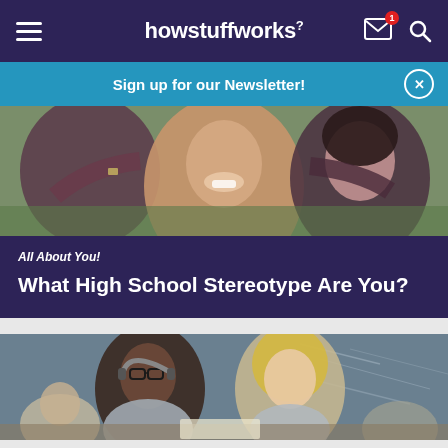howstuffworks
Sign up for our Newsletter!
[Figure (photo): Three smiling teenage girls posing together outdoors]
All About You!
What High School Stereotype Are You?
[Figure (photo): Students studying together in a classroom with a chalkboard in the background]